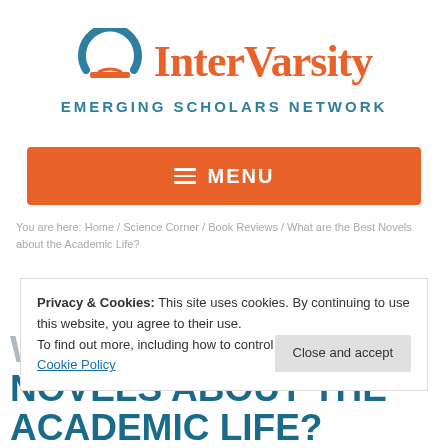[Figure (logo): InterVarsity Emerging Scholars Network logo with teal arc/book icon and orange InterVarsity text]
[Figure (other): Orange MENU navigation bar with hamburger icon]
You are here: Home / Science Corner / Book Reviews / What are the Best Novels about the Academic Life?
Privacy & Cookies: This site uses cookies. By continuing to use this website, you agree to their use. To find out more, including how to control cookies, see here: Cookie Policy
WHAT ARE THE BEST NOVELS ABOUT THE ACADEMIC LIFE?